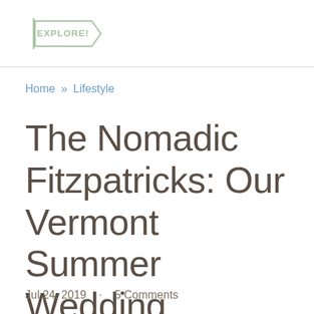EXPLORE!
Home » Lifestyle
The Nomadic Fitzpatricks: Our Vermont Summer Wedding
Jul 24, 2019  ·  5 Comments